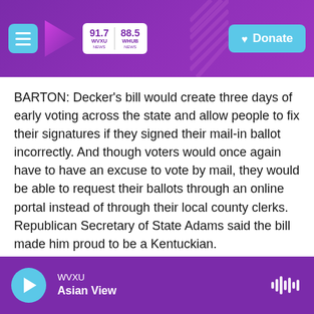91.7 WVXU NEWS | 88.5 WHUB NEWS | Donate
BARTON: Decker's bill would create three days of early voting across the state and allow people to fix their signatures if they signed their mail-in ballot incorrectly. And though voters would once again have to have an excuse to vote by mail, they would be able to request their ballots through an online portal instead of through their local county clerks. Republican Secretary of State Adams said the bill made him proud to be a Kentuckian.
(SOUNDBITE OF ARCHIVED RECORDING)
MICHAEL ADAMS:
WVXU | Asian View